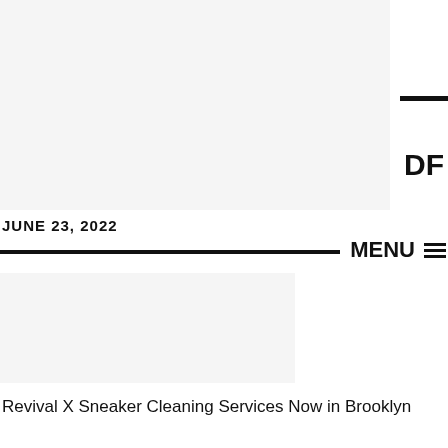[Figure (photo): Large hero image placeholder (light gray background), partially cropped on right side of page]
OF
JUNE 23, 2022
MENU ☰
[Figure (photo): Smaller article image placeholder (light gray background)]
Revival X Sneaker Cleaning Services Now in Brooklyn